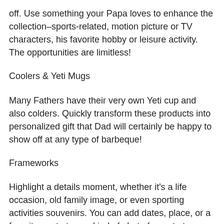off. Use something your Papa loves to enhance the collection–sports-related, motion picture or TV characters, his favorite hobby or leisure activity. The opportunities are limitless!
Coolers & Yeti Mugs
Many Fathers have their very own Yeti cup and also colders. Quickly transform these products into personalized gift that Dad will certainly be happy to show off at any type of barbeque!
Frameworks
Highlight a details moment, whether it's a life occasion, old family image, or even sporting activities souvenirs. You can add dates, place, or a favorite quote to any kind of photo frame to turn a memory or belief right into a tangible present for Daddy.